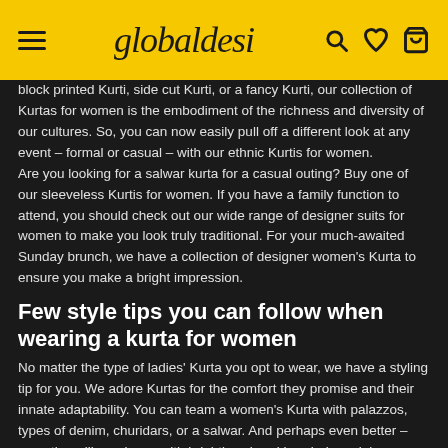globaldesi
block printed Kurti, side cut Kurti, or a fancy Kurti, our collection of Kurtas for women is the embodiment of the richness and diversity of our cultures. So, you can now easily pull off a different look at any event – formal or casual – with our ethnic Kurtis for women. Are you looking for a salwar kurta for a casual outing? Buy one of our sleeveless Kurtis for women. If you have a family function to attend, you should check out our wide range of designer suits for women to make you look truly traditional. For your much-awaited Sunday brunch, we have a collection of designer women's Kurta to ensure you make a bright impression.
Few style tips you can follow when wearing a kurta for women
No matter the type of ladies' Kurta you opt to wear, we have a styling tip for you. We adore Kurtas for the comfort they promise and their innate adaptability. You can team a women's Kurta with palazzos, types of denim, churidars, or a salwar. And perhaps even better – wear them like a dress, with brightly colored beaded sandals or embroidered mojris to complete the look. Whatever be the occasion, these women's long dresses will never disappoint you. Look at our all-new line of black kurtas which are ideal for a fun